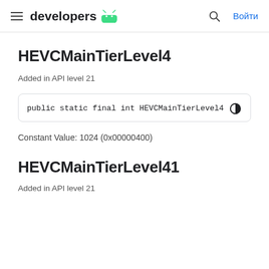developers  [Android logo]  [Search]  Войти
HEVCMainTierLevel4
Added in API level 21
public static final int HEVCMainTierLevel4
Constant Value: 1024 (0x00000400)
HEVCMainTierLevel41
Added in API level 21